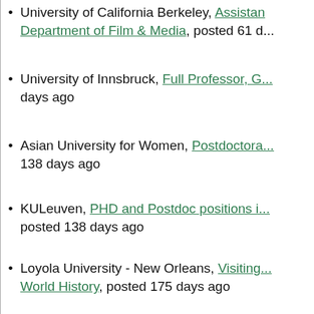University of California Berkeley, Assistant Professor, Department of Film & Media, posted 61 days ago
University of Innsbruck, Full Professor, G..., posted ... days ago
Asian University for Women, Postdoctoral..., 138 days ago
KULeuven, PHD and Postdoc positions i..., posted 138 days ago
Loyola University - New Orleans, Visiting... World History, posted 175 days ago
Asia-Pacific Journal: Japan Focus, Edito...
[Figure (logo): H-Net logo with text Humanities & Social Sciences Online]
[Figure (logo): Partial S logo with letters D H visible, dark background]
Copyright © 1995-2022 - Conta... RSS | Validate: HTML | CSS